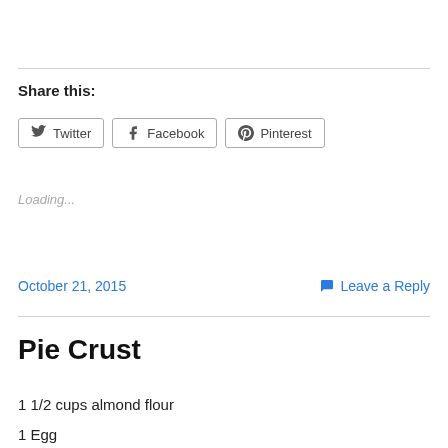Share this:
Twitter  Facebook  Pinterest
Loading...
October 21, 2015
Leave a Reply
Pie Crust
1 1/2 cups almond flour
1 Egg